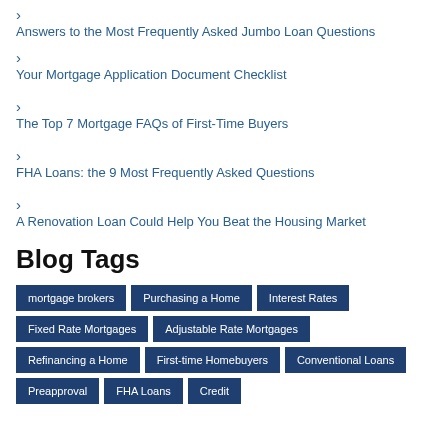> Answers to the Most Frequently Asked Jumbo Loan Questions
> Your Mortgage Application Document Checklist
> The Top 7 Mortgage FAQs of First-Time Buyers
> FHA Loans: the 9 Most Frequently Asked Questions
> A Renovation Loan Could Help You Beat the Housing Market
Blog Tags
mortgage brokers | Purchasing a Home | Interest Rates | Fixed Rate Mortgages | Adjustable Rate Mortgages | Refinancing a Home | First-time Homebuyers | Conventional Loans | Preapproval | FHA Loans | Credit